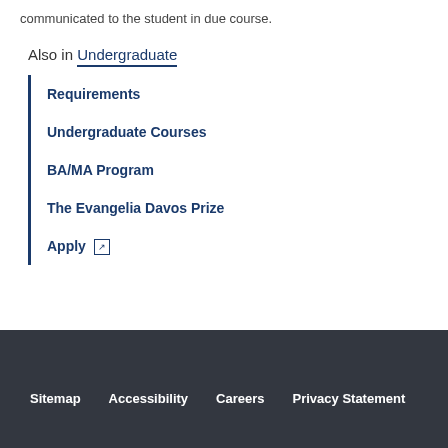communicated to the student in due course.
Also in Undergraduate
Requirements
Undergraduate Courses
BA/MA Program
The Evangelia Davos Prize
Apply
Sitemap   Accessibility   Careers   Privacy Statement